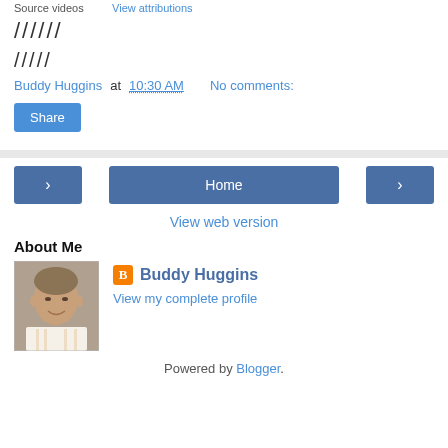Source videos   View attributions
//////
/////
Buddy Huggins at 10:30 AM   No comments:
Share
Home
View web version
About Me
Buddy Huggins
View my complete profile
Powered by Blogger.